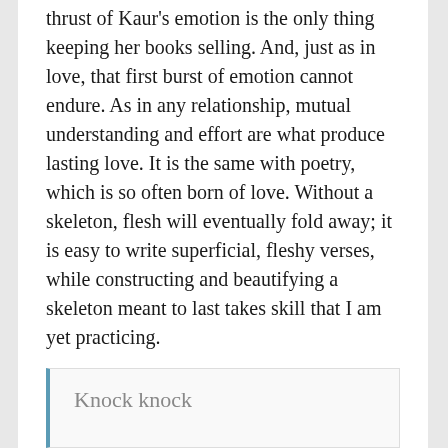thrust of Kaur's emotion is the only thing keeping her books selling. And, just as in love, that first burst of emotion cannot endure. As in any relationship, mutual understanding and effort are what produce lasting love. It is the same with poetry, which is so often born of love. Without a skeleton, flesh will eventually fold away; it is easy to write superficial, fleshy verses, while constructing and beautifying a skeleton meant to last takes skill that I am yet practicing.
For instance, I scribbled this fleshy bit of poetry in the span of a second:
Knock knock